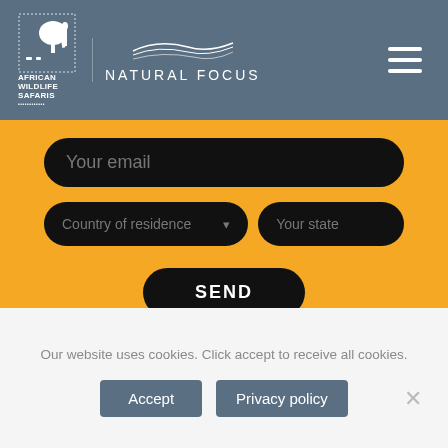[Figure (screenshot): Website header with African Wildlife Safaris and Natural Focus logos on a slate blue background, with hamburger menu icon on the right.]
[Figure (screenshot): Orange/sunset background with silhouetted vegetation at the bottom. Contains a contact form with 'Your email', 'Country of residence' dropdown, 'Your state' input, and a SEND button.]
Our website uses cookies. Click accept to receive all cookies.
Accept
Privacy policy